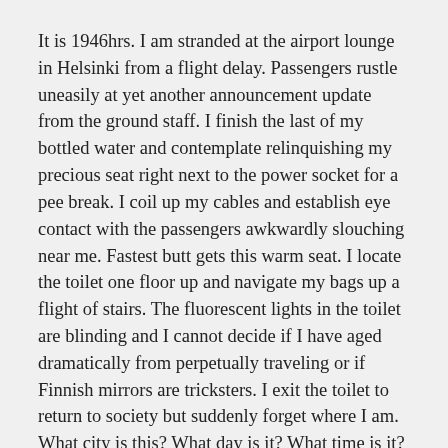It is 1946hrs. I am stranded at the airport lounge in Helsinki from a flight delay. Passengers rustle uneasily at yet another announcement update from the ground staff. I finish the last of my bottled water and contemplate relinquishing my precious seat right next to the power socket for a pee break. I coil up my cables and establish eye contact with the passengers awkwardly slouching near me. Fastest butt gets this warm seat. I locate the toilet one floor up and navigate my bags up a flight of stairs. The fluorescent lights in the toilet are blinding and I cannot decide if I have aged dramatically from perpetually traveling or if Finnish mirrors are tricksters. I exit the toilet to return to society but suddenly forget where I am. What city is this? What day is it? What time is it? What am I doing? I fish out my boarding pass to verify my consciousness and status and purpose as designated on paper.
*
It is 0121hrs. I am chewing on soggy fries at McDonald's. Everything is cold and gross but I do quick math across time